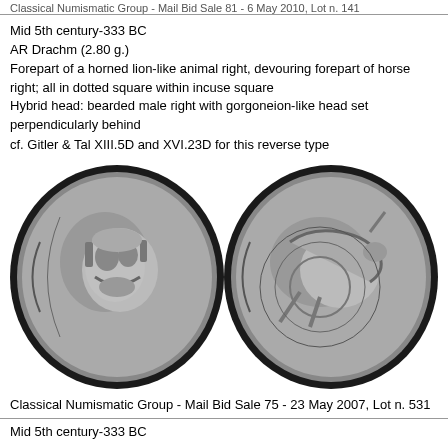Classical Numismatic Group - Mail Bid Sale 81 - 6 May 2010, Lot n. 141
Mid 5th century-333 BC
AR Drachm (2.80 g.)
Forepart of a horned lion-like animal right, devouring forepart of horse right; all in dotted square within incuse square
Hybrid head: bearded male right with gorgoneion-like head set perpendicularly behind
cf. Gitler & Tal XIII.5D and XVI.23D for this reverse type
[Figure (photo): Two ancient coins side by side, black and white photograph. Left coin shows a hybrid head (bearded male face) viewed from front. Right coin shows forepart of a horned lion-like animal devouring forepart of horse.]
Classical Numismatic Group - Mail Bid Sale 75 - 23 May 2007, Lot n. 531
Mid 5th century-333 BC